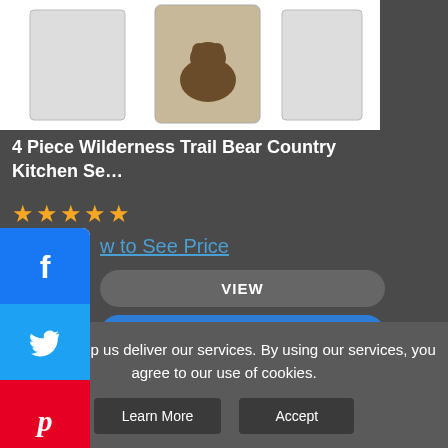[Figure (screenshot): Product image area showing bear-themed kitchen set items on white background]
4 Piece Wilderness Trail Bear Country Kitchen Se…
★★★★★
View to See Price
VIEW
ADD TO CART
[Figure (screenshot): Social share sidebar with Facebook, Twitter, Pinterest, Tumblr, and share buttons]
The Best
ucts on eBay
Cookies help us deliver our services. By using our services, you agree to our use of cookies.
Learn More
Accept